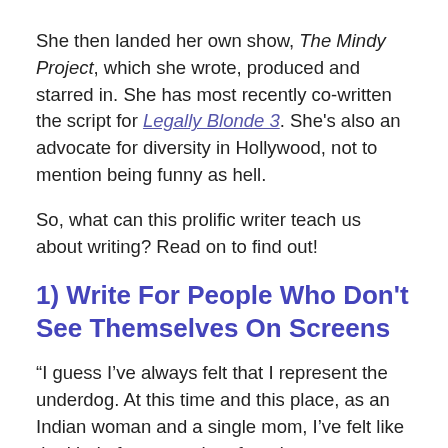She then landed her own show, The Mindy Project, which she wrote, produced and starred in. She has most recently co-written the script for Legally Blonde 3. She's also an advocate for diversity in Hollywood, not to mention being funny as hell.
So, what can this prolific writer teach us about writing? Read on to find out!
1) Write For People Who Don't See Themselves On Screens
“I guess I’ve always felt that I represent the underdog. At this time and this place, as an Indian woman and a single mom, I’ve felt like the kind of person who often does not get to be the lead of a story. I want the stories that I tell, the characters I play and create, to resonate with people who do not see